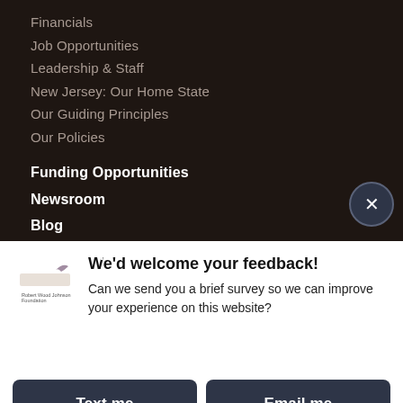Financials
Job Opportunities
Leadership & Staff
New Jersey: Our Home State
Our Guiding Principles
Our Policies
Funding Opportunities
Newsroom
Blog
Grants Explorer
We'd welcome your feedback! Can we send you a brief survey so we can improve your experience on this website?
Text me
Email me
Powered by ForeSee